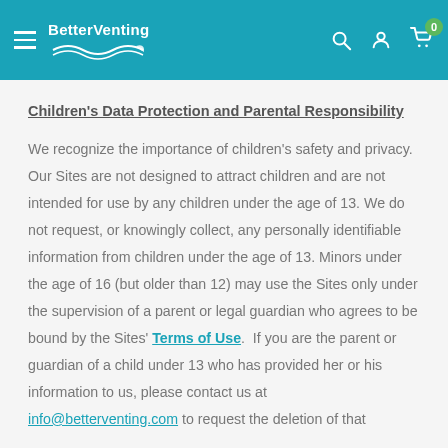BetterVenting
Children's Data Protection and Parental Responsibility
We recognize the importance of children's safety and privacy. Our Sites are not designed to attract children and are not intended for use by any children under the age of 13. We do not request, or knowingly collect, any personally identifiable information from children under the age of 13. Minors under the age of 16 (but older than 12) may use the Sites only under the supervision of a parent or legal guardian who agrees to be bound by the Sites' Terms of Use. If you are the parent or guardian of a child under 13 who has provided her or his information to us, please contact us at info@betterventing.com to request the deletion of that